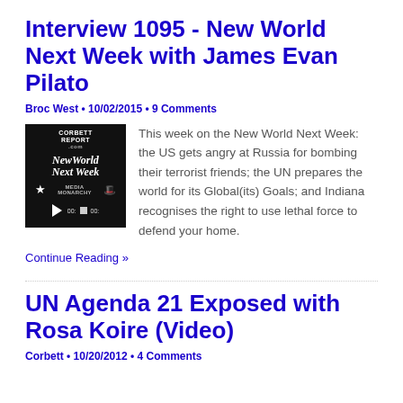Interview 1095 - New World Next Week with James Evan Pilato
Broc West • 10/02/2015 • 9 Comments
[Figure (screenshot): Corbett Report New World Next Week video thumbnail with Media Monarchy branding and audio player controls]
This week on the New World Next Week: the US gets angry at Russia for bombing their terrorist friends; the UN prepares the world for its Global(its) Goals; and Indiana recognises the right to use lethal force to defend your home.
Continue Reading »
UN Agenda 21 Exposed with Rosa Koire (Video)
Corbett • 10/20/2012 • 4 Comments